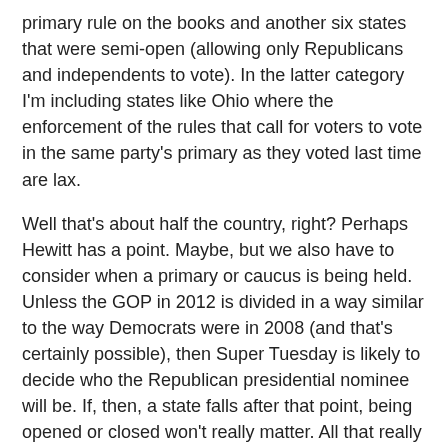primary rule on the books and another six states that were semi-open (allowing only Republicans and independents to vote). In the latter category I'm including states like Ohio where the enforcement of the rules that call for voters to vote in the same party's primary as they voted last time are lax.
Well that's about half the country, right? Perhaps Hewitt has a point. Maybe, but we also have to consider when a primary or caucus is being held. Unless the GOP in 2012 is divided in a way similar to the way Democrats were in 2008 (and that's certainly possible), then Super Tuesday is likely to decide who the Republican presidential nominee will be. If, then, a state falls after that point, being opened or closed won't really matter. All that really does is remove Idaho's open primary and the semi-open primary in North Carolina from the equation. I could also strike off Mississippi, Ohio, Rhode Island, Texas and Vermont, but since the most likely outcome of the reform efforts underway in both parties (see posts related to the Democratic Change Commission and the Republican Temporary Delegate Selection Committee for more.) is that the February activity from 2008 gets moved to March in 2012, then those states will be part